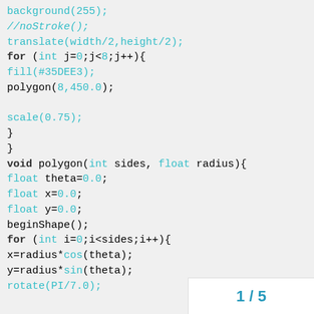background(255);
//noStroke();
translate(width/2,height/2);
for (int j=0;j<8;j++){
fill(#35DEE3);
polygon(8,450.0);

scale(0.75);
}
}
void polygon(int sides, float radius){
float theta=0.0;
float x=0.0;
float y=0.0;
beginShape();
for (int i=0;i<sides;i++){
x=radius*cos(theta);
y=radius*sin(theta);
rotate(PI/7.0);
1 / 5